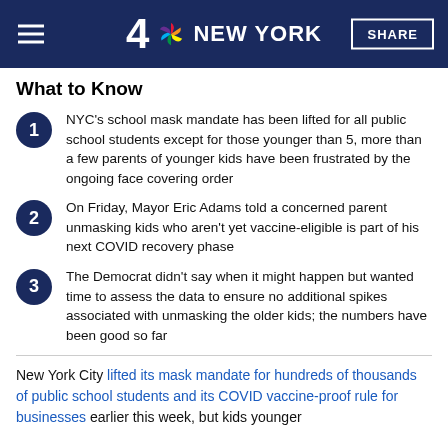4 NBC NEW YORK | SHARE
What to Know
NYC's school mask mandate has been lifted for all public school students except for those younger than 5, more than a few parents of younger kids have been frustrated by the ongoing face covering order
On Friday, Mayor Eric Adams told a concerned parent unmasking kids who aren't yet vaccine-eligible is part of his next COVID recovery phase
The Democrat didn't say when it might happen but wanted time to assess the data to ensure no additional spikes associated with unmasking the older kids; the numbers have been good so far
New York City lifted its mask mandate for hundreds of thousands of public school students and its COVID vaccine-proof rule for businesses earlier this week, but kids younger